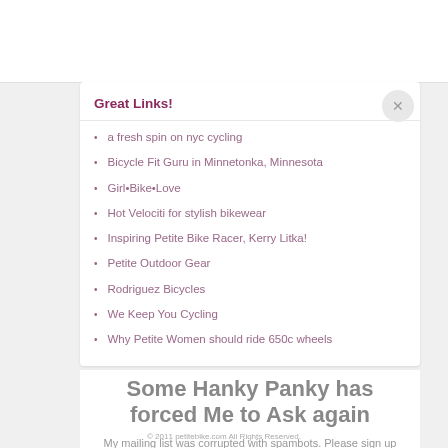Great Links!
a fresh spin on nyc cycling
Bicycle Fit Guru in Minnetonka, Minnesota
Girl•Bike•Love
Hot Velociti for stylish bikewear
Inspiring Petite Bike Racer, Kerry Litka!
Petite Outdoor Gear
Rodriguez Bicycles
We Keep You Cycling
Why Petite Women should ride 650c wheels
Some Hanky Panky has forced Me to Ask again
My mailing list was corrupted with spambots. Please sign up for updates and new info. I
© 2011 petitebike.com All Rights Reserved.